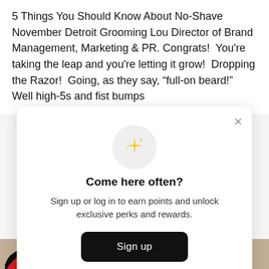5 Things You Should Know About No-Shave November Detroit Grooming Lou Director of Brand Management, Marketing & PR. Congrats!  You're taking the leap and you're letting it grow!  Dropping the Razor!  Going, as they say, “full-on beard!”  Well high-5s and fist bumps
[Figure (screenshot): A modal dialog with a sparkle emoji icon, heading 'Come here often?', body text 'Sign up or log in to earn points and unlock exclusive perks and rewards.', a black 'Sign up' button, and a footer line 'Already have an account? Sign in' with Sign in underlined. A close (×) button is in the top right.]
[Figure (photo): Bottom strip of an image showing red and black circular shapes on a tan/beige background.]